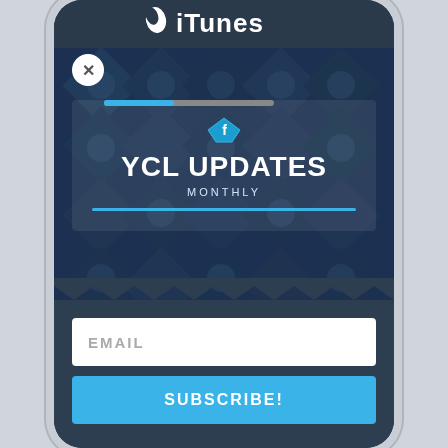[Figure (screenshot): iTunes app store header with Apple logo and iTunes wordmark on dark blue background]
[Figure (screenshot): Close (X) button in white circle]
[Figure (screenshot): Progress bar partially filled in blue]
YCL UPDATES
MONTHLY
JOIN THE COMMUNITY!
FREE RESOURCES and updates!
EMAIL
SUBSCRIBE!